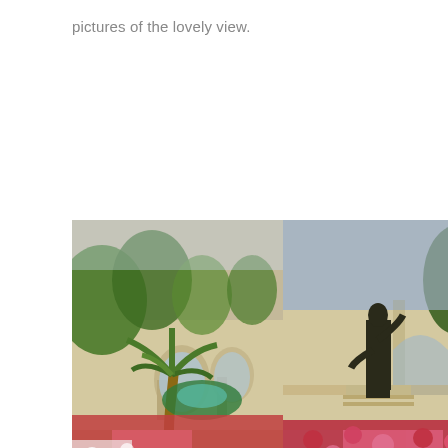pictures of the lovely view.
[Figure (photo): Garden with palm tree, flowering plants in red, pink and white, a fountain in the background, and stone arches]
[Figure (photo): Bronze statue of a Roman figure on a pedestal, surrounded by red and pink flowering plants, stone arches in background]
[Figure (photo): Partial view of an overcast sky with tree branches visible on the right side]